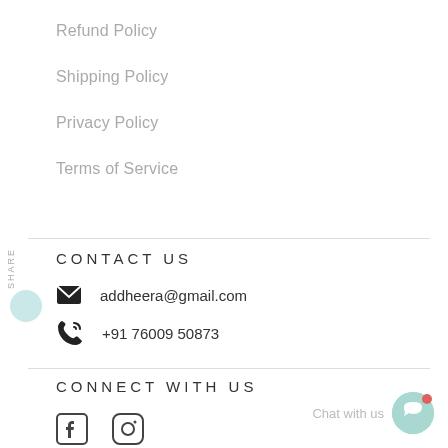Refund Policy
Shipping Policy
Privacy Policy
Terms of Service
CONTACT US
addheera@gmail.com
+91 76009 50873
CONNECT WITH US
[Figure (illustration): Facebook and Instagram social media icons]
Chat with us